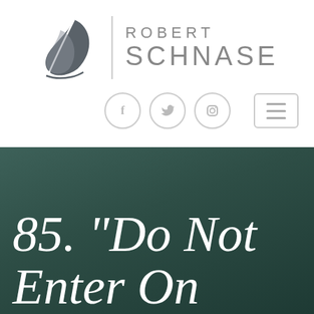[Figure (logo): Robert Schnase logo with a feather/leaf SVG icon on the left, a vertical divider line, and the text ROBERT SCHNASE in gray sans-serif to the right]
[Figure (infographic): Navigation bar with three circular social media icons (Facebook, Twitter, Instagram) and a hamburger menu button on the right]
85. “Do Not Enter On